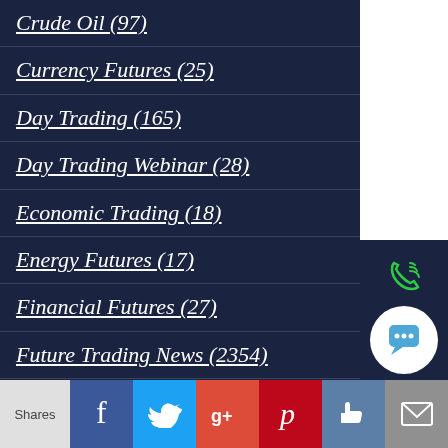Crude Oil (97)
Currency Futures (25)
Day Trading (165)
Day Trading Webinar (28)
Economic Trading (18)
Energy Futures (17)
Financial Futures (27)
Future Trading News (2354)
Future Trading Platform (61)
Futures Broker (141)
Futures Exchange (72)
Futures Trading (704)
futures trading education (143)
Gold Futures (13)
[Figure (infographic): Sidebar with phone icon, search icon, and chart icon on dark navy background]
[Figure (infographic): Chat bubble circle icon]
Shares | Facebook | Twitter | Google+ | Pinterest | Like | Email